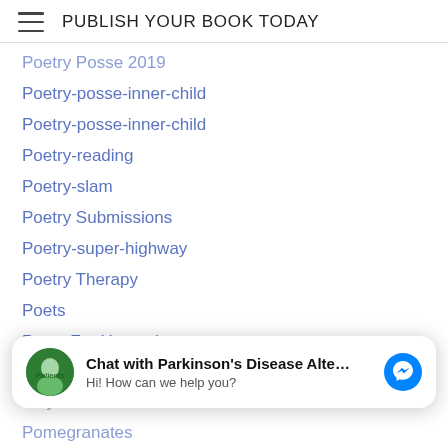PUBLISH YOUR BOOK TODAY
Poetry Posse 2019
Poetry-posse-inner-child
Poetry-posse-inner-child
Poetry-reading
Poetry-slam
Poetry Submissions
Poetry-super-highway
Poetry Therapy
Poets
Poets For Humanity
Poets & Writers
Pokoacutej-peace
Pokoju-peace
Polish-poland
Chat with Parkinson's Disease Alte...
Hi! How can we help you?
Polynesian
Pomegranates